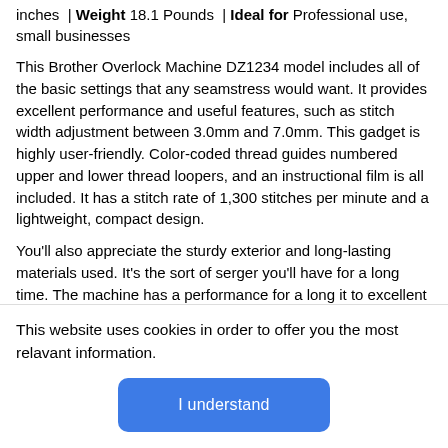inches | Weight 18.1 Pounds | Ideal for Professional use, small businesses
This Brother Overlock Machine DZ1234 model includes all of the basic settings that any seamstress would want. It provides excellent performance and useful features, such as stitch width adjustment between 3.0mm and 7.0mm. This gadget is highly user-friendly. Color-coded thread guides numbered upper and lower thread loopers, and an instructional film is all included. It has a stitch rate of 1,300 stitches per minute and a lightweight, compact design.
You'll also appreciate the sturdy exterior and long-lasting materials used. It's the sort of serger you'll have for a long time. The machine has a performance rating excellent...
This website uses cookies in order to offer you the most relavant information.
I understand